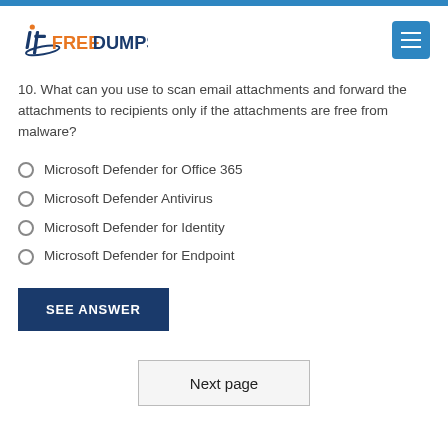itFREEDUMPS
10. What can you use to scan email attachments and forward the attachments to recipients only if the attachments are free from malware?
Microsoft Defender for Office 365
Microsoft Defender Antivirus
Microsoft Defender for Identity
Microsoft Defender for Endpoint
SEE ANSWER
Next page